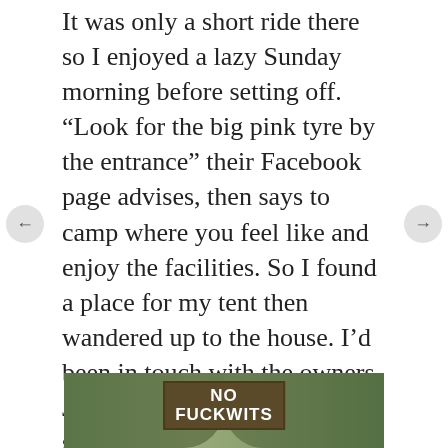It was only a short ride there so I enjoyed a lazy Sunday morning before setting off. “Look for the big pink tyre by the entrance” their Facebook page advises, then says to camp where you feel like and enjoy the facilities. So I found a place for my tent then wandered up to the house. I’d been in touch with the owners, Jock and Annie via Facebook, so I went to say Hi. I was met by a big guy, with a bushy white beard, who immediately gave me a beer, and an attractive, slim woman who immediately gave me a hug. There’s nothing wrong with a welcome like that.
[Figure (photo): Outdoor scene with trees and a wooden sign reading 'NO FUCKWITS']